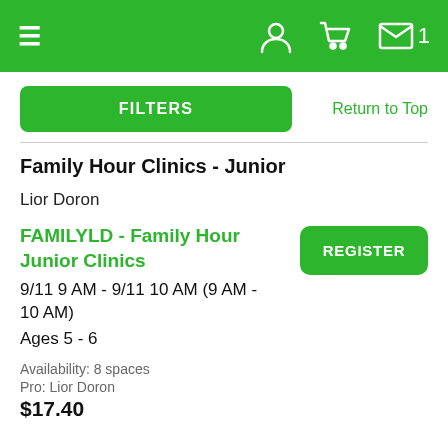Navigation bar with hamburger menu, user icon, cart icon, and mail icon with badge 1
FILTERS
Return to Top
Family Hour Clinics - Junior
Lior Doron
FAMILYLD - Family Hour Junior Clinics
9/11 9 AM - 9/11 10 AM (9 AM - 10 AM)
Ages 5 - 6
REGISTER
Availability: 8 spaces
Pro: Lior Doron
$17.40